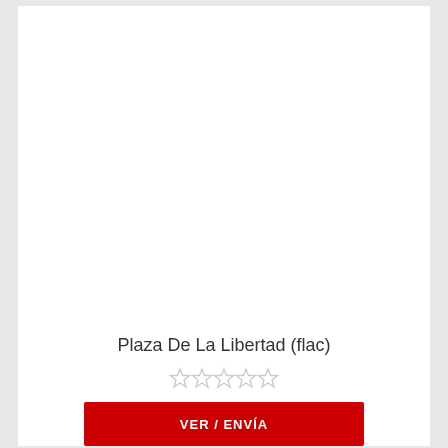[Figure (other): Empty white product image area for Plaza De La Libertad (flac)]
Plaza De La Libertad (flac)
☆ ☆ ☆ ☆ ☆
Desde $1.69
VER / ENVÍA